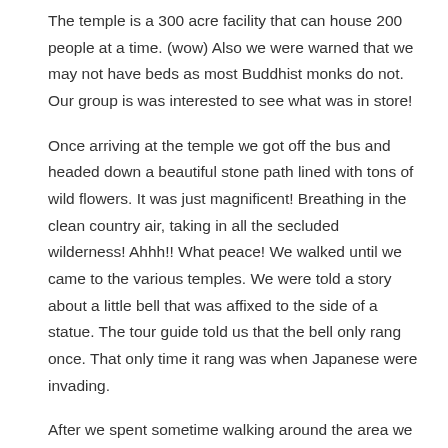The temple is a 300 acre facility that can house 200 people at a time. (wow) Also we were warned that we may not have beds as most Buddhist monks do not. Our group is was interested to see what was in store!
Once arriving at the temple we got off the bus and headed down a beautiful stone path lined with tons of wild flowers. It was just magnificent! Breathing in the clean country air, taking in all the secluded wilderness! Ahhh!! What peace! We walked until we came to the various temples. We were told a story about a little bell that was affixed to the side of a statue. The tour guide told us that the bell only rang once. That only time it rang was when Japanese were invading.
After we spent sometime walking around the area we went to check into our temple stay. We were really surprised to see that the temple complex